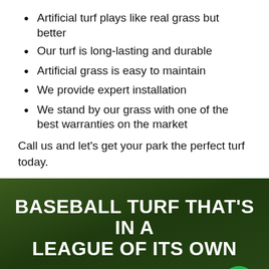Artificial turf plays like real grass but better
Our turf is long-lasting and durable
Artificial grass is easy to maintain
We provide expert installation
We stand by our grass with one of the best warranties on the market
Call us and let's get your park the perfect turf today.
BASEBALL TURF THAT'S IN A LEAGUE OF ITS OWN
Artificial grass swings for the fences in every way. Baseball turf has many advantages over natural grass, from playability to maintenance.
START PLAYING OUTDOORS EARLIER